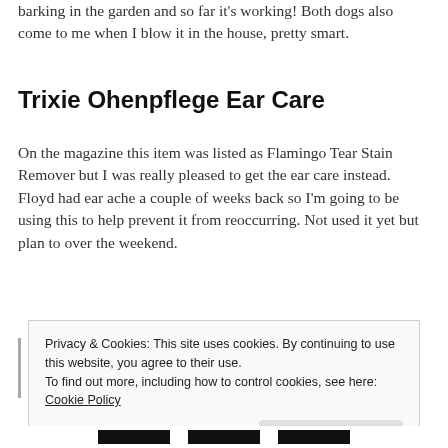barking in the garden and so far it's working! Both dogs also come to me when I blow it in the house, pretty smart.
Trixie Ohenpflege Ear Care
On the magazine this item was listed as Flamingo Tear Stain Remover but I was really pleased to get the ear care instead. Floyd had ear ache a couple of weeks back so I'm going to be using this to help prevent it from reoccurring. Not used it yet but plan to over the weekend.
Privacy & Cookies: This site uses cookies. By continuing to use this website, you agree to their use.
To find out more, including how to control cookies, see here:
Cookie Policy

Close and accept